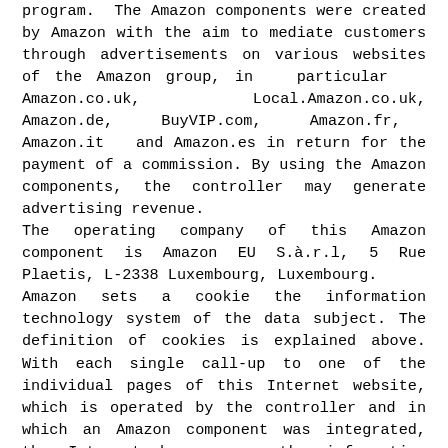program. The Amazon components were created by Amazon with the aim to mediate customers through advertisements on various websites of the Amazon group, in particular Amazon.co.uk, Local.Amazon.co.uk, Amazon.de, BuyVIP.com, Amazon.fr, Amazon.it and Amazon.es in return for the payment of a commission. By using the Amazon components, the controller may generate advertising revenue. The operating company of this Amazon component is Amazon EU S.à.r.l, 5 Rue Plaetis, L-2338 Luxembourg, Luxembourg. Amazon sets a cookie the information technology system of the data subject. The definition of cookies is explained above. With each single call-up to one of the individual pages of this Internet website, which is operated by the controller and in which an Amazon component was integrated, the Internet browser on the information technology system of the data subject will automatically submit data for the purpose of online advertising and the settlement of commissions to Amazon through the respective Amazon component. During the course of this technical procedure, Amazon receives personal information that is used to trace the origin of orders from Amazon, and